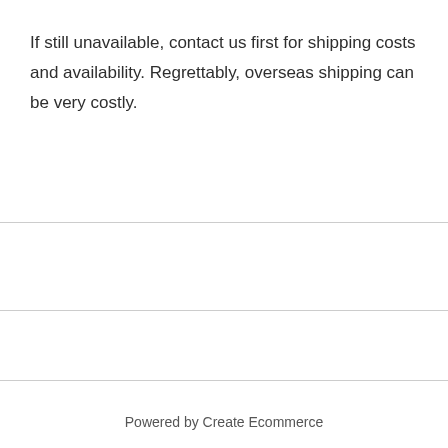If still unavailable, contact us first for shipping costs and availability. Regrettably, overseas shipping can be very costly.
Powered by Create Ecommerce